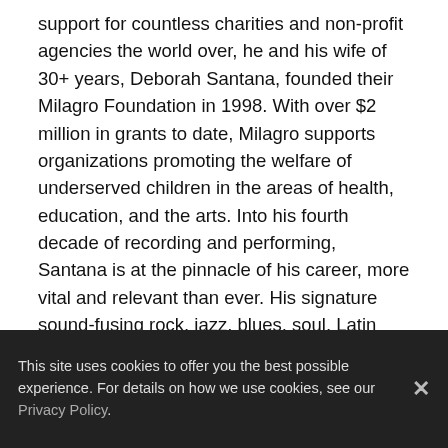support for countless charities and non-profit agencies the world over, he and his wife of 30+ years, Deborah Santana, founded their Milagro Foundation in 1998. With over $2 million in grants to date, Milagro supports organizations promoting the welfare of underserved children in the areas of health, education, and the arts. Into his fourth decade of recording and performing, Santana is at the pinnacle of his career, more vital and relevant than ever. His signature sound-fusing rock, jazz, blues, soul, Latin idioms, multi-cultural genres and more-is as unique as it is instantly identifiable. With his lifetime of music and achievement, Santana has become a cultural event-- transcending genre, crossing cultures--creating the music that has become the soundtrack for the world.
ANDRÉ WATTS burst upon the music world at the age of
This site uses cookies to offer you the best possible experience. For details on how we use cookies, see our Privacy Policy.
concerts, broadcast nationwide on CBS-TV. Only two